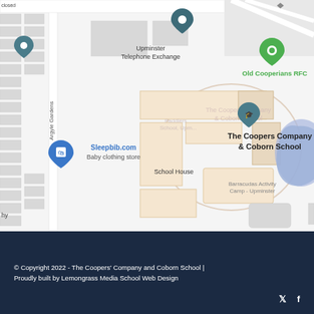[Figure (map): Google Maps screenshot showing Upminster area with markers for Upminster Telephone Exchange, Old Cooperians RFC (green marker), The Coopers Company & Coborn School (school pin marker), Sleepbib.com Baby clothing store (blue marker), and School House label. Street labels include Argyle Gardens. Buildings shown as orange/beige blocks. A blue pond/lake shape visible in lower center-right area.]
© Copyright 2022 - The Coopers' Company and Coborn School | Proudly built by Lemongrass Media School Web Design